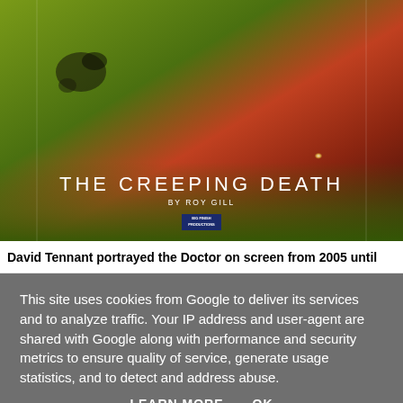[Figure (illustration): Book/audio cover art for 'The Creeping Death by Roy Gill' — dramatic illustration showing David Tennant as the Doctor (foreground left, looking alarmed), a red-haired woman (center background), and an older woman with glowing orb (right background), set against green and red atmospheric background. Big Finish Productions logo at bottom center.]
David Tennant portrayed the Doctor on screen from 2005 until
This site uses cookies from Google to deliver its services and to analyze traffic. Your IP address and user-agent are shared with Google along with performance and security metrics to ensure quality of service, generate usage statistics, and to detect and address abuse.
LEARN MORE     OK